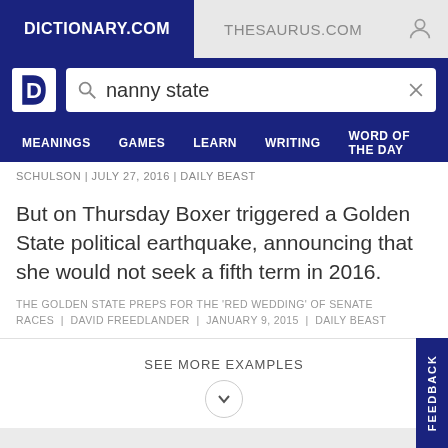DICTIONARY.COM | THESAURUS.COM
nanny state
MEANINGS GAMES LEARN WRITING WORD OF THE DAY
SCHULSON | JULY 27, 2016 | DAILY BEAST
But on Thursday Boxer triggered a Golden State political earthquake, announcing that she would not seek a fifth term in 2016.
THE GOLDEN STATE PREPS FOR THE 'RED WEDDING' OF SENATE RACES | DAVID FREEDLANDER | JANUARY 9, 2015 | DAILY BEAST
SEE MORE EXAMPLES
BRITISH DICTIONARY DEFINITIONS FOR NANNY STATE
nanny state